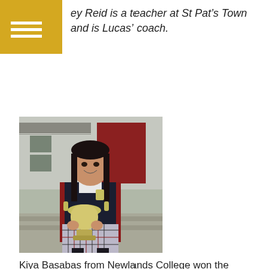ey Reid is a teacher at St Pat’s Town and is Lucas’ coach.
[Figure (photo): A young female student in school uniform (dark blazer with red trim, plaid skirt) holding a large silver trophy cup, standing outdoors in front of school buildings.]
Kiya Basabas from Newlands College won the Stockley